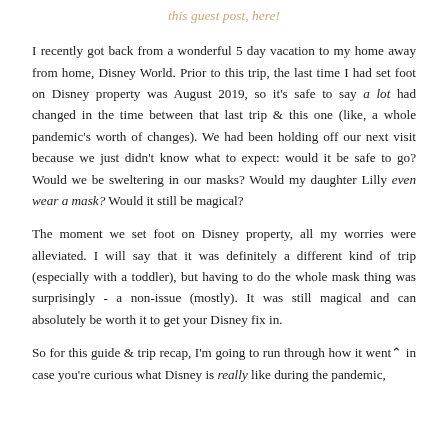this guest post, here!
I recently got back from a wonderful 5 day vacation to my home away from home, Disney World. Prior to this trip, the last time I had set foot on Disney property was August 2019, so it's safe to say a lot had changed in the time between that last trip & this one (like, a whole pandemic's worth of changes). We had been holding off our next visit because we just didn't know what to expect: would it be safe to go? Would we be sweltering in our masks? Would my daughter Lilly even wear a mask? Would it still be magical?
The moment we set foot on Disney property, all my worries were alleviated. I will say that it was definitely a different kind of trip (especially with a toddler), but having to do the whole mask thing was surprisingly - a non-issue (mostly). It was still magical and can absolutely be worth it to get your Disney fix in.
So for this guide & trip recap, I'm going to run through how it went in case you're curious what Disney is really like during the pandemic,